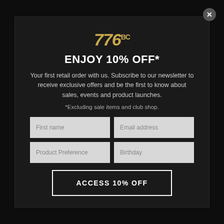[Figure (logo): 776BC brand logo in gold italic stylized numerals with 'BC' superscript]
ENJOY 10% OFF*
Your first retail order with us. Subscribe to our newsletter to receive exclusive offers and be the first to know about sales, events and product launches.
*Excluding sale items and club shop.
First name
Email address
Product Preference
Birthday
ACCESS 10% OFF